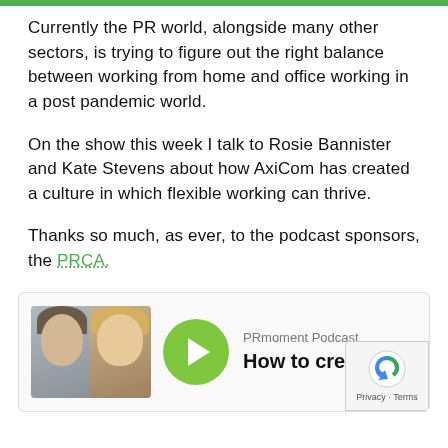Currently the PR world, alongside many other sectors, is trying to figure out the right balance between working from home and office working in a post pandemic world.
On the show this week I talk to Rosie Bannister and Kate Stevens about how AxiCom has created a culture in which flexible working can thrive.
Thanks so much, as ever, to the podcast sponsors, the PRCA.
[Figure (other): Podcast player card showing two women's photos, a green play button, the label 'PRmoment Podcast' and title 'How to create a flex...' with a reCAPTCHA badge in the corner.]